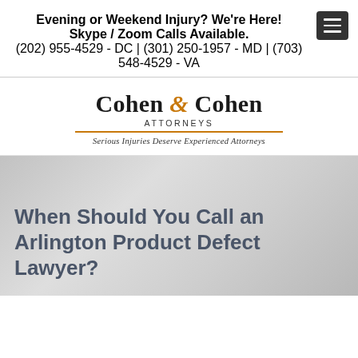Evening or Weekend Injury? We're Here! Skype / Zoom Calls Available. (202) 955-4529 - DC | (301) 250-1957 - MD | (703) 548-4529 - VA
[Figure (logo): Cohen & Cohen Attorneys logo. Text reads 'Cohen & Cohen' in serif font with an orange ampersand, 'ATTORNEYS' in spaced caps below, and tagline 'Serious Injuries Deserve Experienced Attorneys']
When Should You Call an Arlington Product Defect Lawyer?